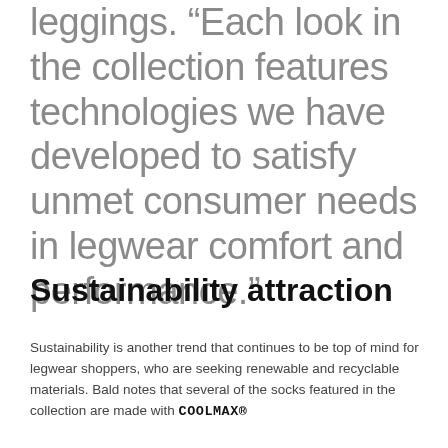leggings. “Each look in the collection features technologies we have developed to satisfy unmet consumer needs in legwear comfort and performance.”
Sustainability attraction
Sustainability is another trend that continues to be top of mind for legwear shoppers, who are seeking renewable and recyclable materials. Bald notes that several of the socks featured in the collection are made with COOLMAX®